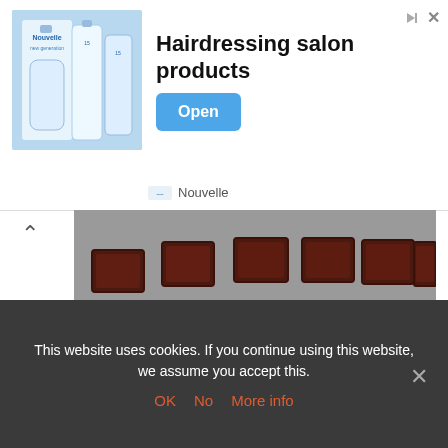[Figure (photo): Advertisement banner for Nouvelle hairdressing salon products showing product bottles on blue background]
Hairdressing salon products
Open
Nouvelle
[Figure (photo): Overhead view of many red/rust-colored rectangular metal molds or trays arranged on a gray concrete or stone surface dusted with white powder]
This website uses cookies. If you continue using this website, we assume you accept this.
OK   No   More info